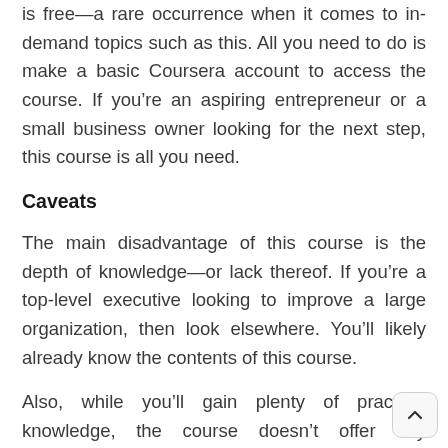is free—a rare occurrence when it comes to in-demand topics such as this. All you need to do is make a basic Coursera account to access the course. If you're an aspiring entrepreneur or a small business owner looking for the next step, this course is all you need.
Caveats
The main disadvantage of this course is the depth of knowledge—or lack thereof. If you're a top-level executive looking to improve a large organization, then look elsewhere. You'll likely already know the contents of this course.
Also, while you'll gain plenty of practical knowledge, the course doesn't offer any certificates, so you can't include it in your CV.
Lastly, although the course offers great content and high quality videos, most learning is done through